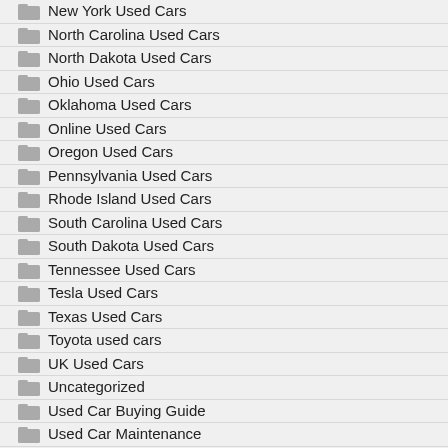New York Used Cars
North Carolina Used Cars
North Dakota Used Cars
Ohio Used Cars
Oklahoma Used Cars
Online Used Cars
Oregon Used Cars
Pennsylvania Used Cars
Rhode Island Used Cars
South Carolina Used Cars
South Dakota Used Cars
Tennessee Used Cars
Tesla Used Cars
Texas Used Cars
Toyota used cars
UK Used Cars
Uncategorized
Used Car Buying Guide
Used Car Maintenance
Used Car Market